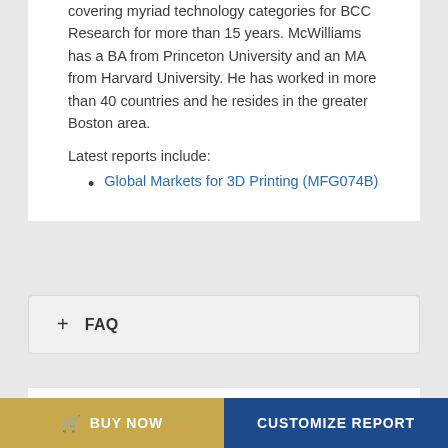covering myriad technology categories for BCC Research for more than 15 years. McWilliams has a BA from Princeton University and an MA from Harvard University. He has worked in more than 40 countries and he resides in the greater Boston area.
Latest reports include:
Global Markets for 3D Printing (MFG074B)
+ FAQ
[Figure (photo): Network/technology abstract image with geometric shapes and connection nodes in yellow and blue tones]
BUY NOW
CUSTOMIZE REPORT